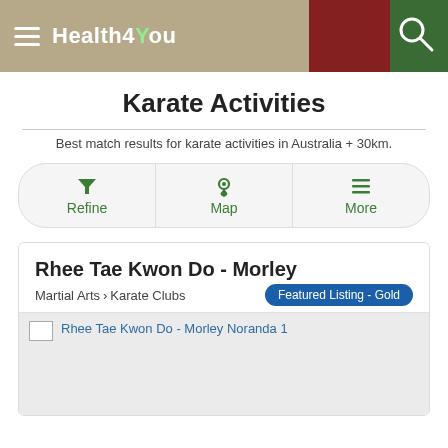Health4You
Karate Activities
Best match results for karate activities in Australia + 30km.
Refine | Map | More
Rhee Tae Kwon Do - Morley
Martial Arts > Karate Clubs
Featured Listing - Gold
[Figure (photo): Placeholder image for Rhee Tae Kwon Do - Morley Noranda 1]